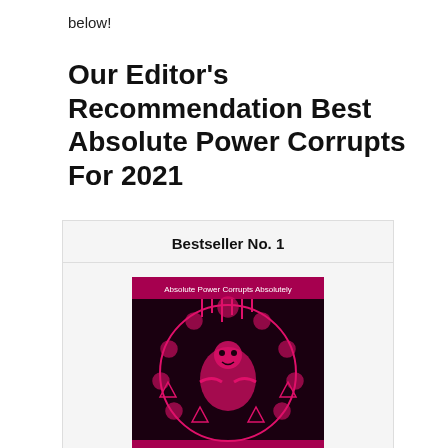below!
Our Editor's Recommendation Best Absolute Power Corrupts For 2021
Bestseller No. 1
[Figure (illustration): Book cover showing 'Absolute Power Corrupts Absolutely' by Sputnik Slovenia — dark background with pink/magenta anime-style illustration of a character surrounded by spiky circular design elements.]
Absolute Power Corrupts Absolutely